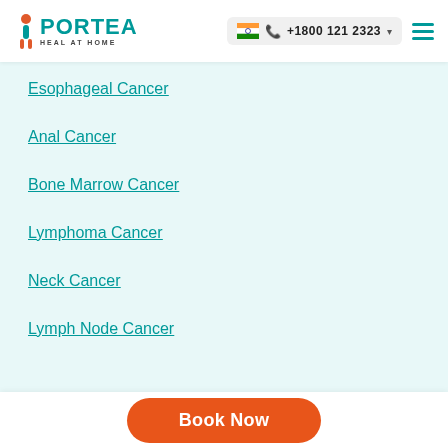PORTEA HEAL AT HOME — +1800 121 2323
Esophageal Cancer
Anal Cancer
Bone Marrow Cancer
Lymphoma Cancer
Neck Cancer
Lymph Node Cancer
Book Now